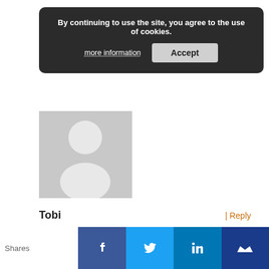By continuing to use the site, you agree to the use of cookies.
more information   Accept
[Figure (illustration): Generic user avatar placeholder — grey square with white silhouette of a person]
Tobi
| Reply
Hello Edwin,
I so much gathered enough information from your write up above. I am just new in the system of pressure calibration, still learning, and yet to carry out a real project on it. I am learning on how to use Fluke 726, trying to gather as much information as as far as pressure calibration is concerned. Please i need you to clarify the following questions concisely for me:
Shares